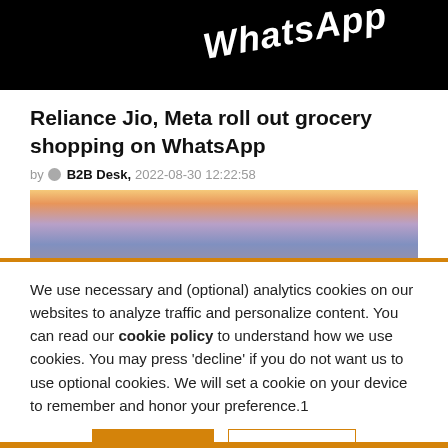[Figure (photo): WhatsApp logo banner with white italic text on black background]
Reliance Jio, Meta roll out grocery shopping on WhatsApp
by B2B Desk, 2022-08-30 12:22:58
[Figure (photo): Sunset sky with orange and purple clouds, thin tower silhouette]
We use necessary and (optional) analytics cookies on our websites to analyze traffic and personalize content. You can read our cookie policy to understand how we use cookies. You may press 'decline' if you do not want us to use optional cookies. We will set a cookie on your device to remember and honor your preference.1